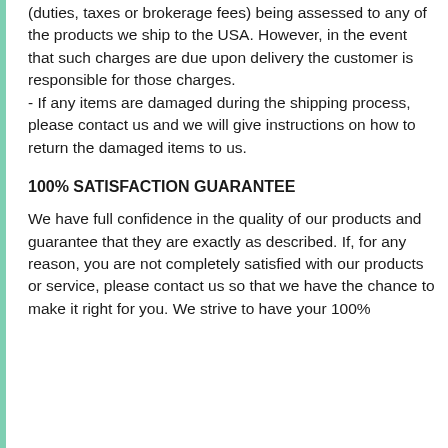(duties, taxes or brokerage fees) being assessed to any of the products we ship to the USA. However, in the event that such charges are due upon delivery the customer is responsible for those charges.
- If any items are damaged during the shipping process, please contact us and we will give instructions on how to return the damaged items to us.
100% SATISFACTION GUARANTEE
We have full confidence in the quality of our products and guarantee that they are exactly as described. If, for any reason, you are not completely satisfied with our products or service, please contact us so that we have the chance to make it right for you. We strive to have your 100% satisfaction.